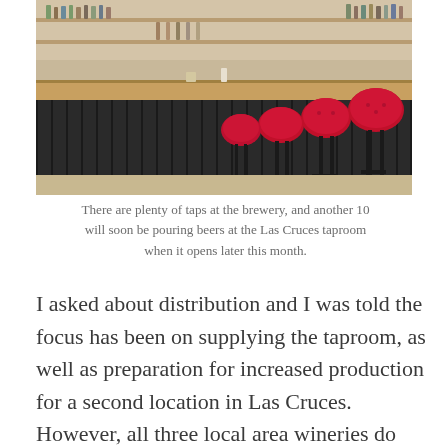[Figure (photo): Interior photo of a brewery bar with a long wooden bar counter, dark paneled front, and several red tufted bar stools lined up along the bar. Bottles and bar equipment visible on shelves in the background.]
There are plenty of taps at the brewery, and another 10 will soon be pouring beers at the Las Cruces taproom when it opens later this month.
I asked about distribution and I was told the focus has been on supplying the taproom, as well as preparation for increased production for a second location in Las Cruces. However, all three local area wineries do offer their beer on tap (Shattuck, Black Range, and Point Blanc). Current production is approximately 400 barrels, up 30 percent from last year.